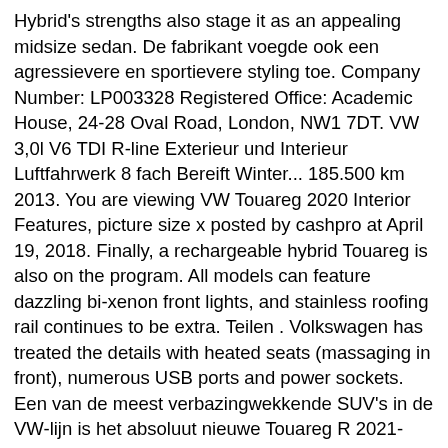Hybrid's strengths also stage it as an appealing midsize sedan. De fabrikant voegde ook een agressievere en sportievere styling toe. Company Number: LP003328 Registered Office: Academic House, 24-28 Oval Road, London, NW1 7DT. VW 3,0l V6 TDI R-line Exterieur und Interieur Luftfahrwerk 8 fach Bereift Winter... 185.500 km 2013. You are viewing VW Touareg 2020 Interior Features, picture size x posted by cashpro at April 19, 2018. Finally, a rechargeable hybrid Touareg is also on the program. All models can feature dazzling bi-xenon front lights, and stainless roofing rail continues to be extra. Teilen . Volkswagen has treated the details with heated seats (massaging in front), numerous USB ports and power sockets. Een van de meest verbazingwekkende SUV's in de VW-lijn is het absoluut nieuwe Touareg R 2021-model. The new LED front lights are put in and chrome roof structure side rails to incorporate a lot more sportiness to physical appearance. New Volkswagen Touareg R-Line 8V 2020 Review Interior Exterior. The Touareg R is a sportier take on the design language that